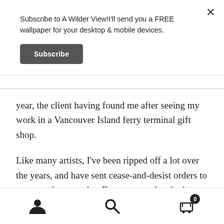Subscribe to A Wilder View!I'll send you a FREE wallpaper for your desktop & mobile devices.
Subscribe
year, the client having found me after seeing my work in a Vancouver Island ferry terminal gift shop.
Like many artists, I've been ripped off a lot over the years, and have sent cease-and-desist orders to stores and companies. Because people who know me well are aware of this, they're often on the
User icon | Search icon | Cart (0)